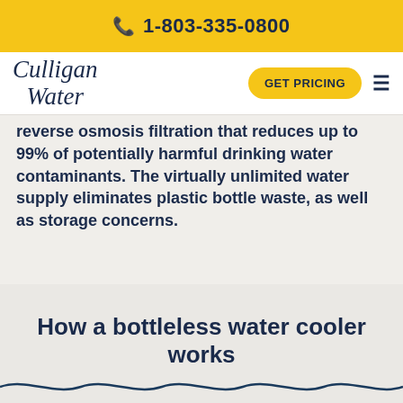1-803-335-0800
[Figure (logo): Culligan Water logo in cursive script]
reverse osmosis filtration that reduces up to 99% of potentially harmful drinking water contaminants. The virtually unlimited water supply eliminates plastic bottle waste, as well as storage concerns.
How a bottleless water cooler works